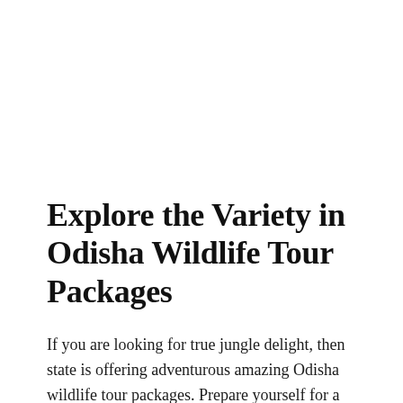Explore the Variety in Odisha Wildlife Tour Packages
If you are looking for true jungle delight, then state is offering adventurous amazing Odisha wildlife tour packages. Prepare yourself for a wild camp of Odisha to visit best wildlife sanctuaries, where you are not only spot wild creatures but also explore